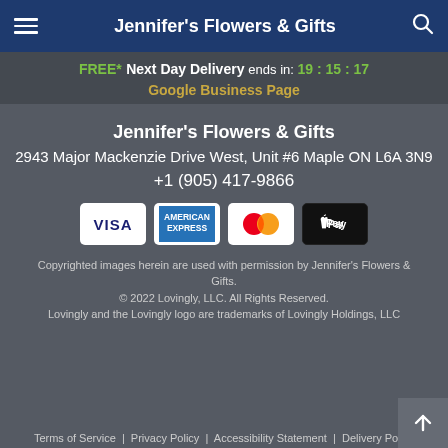Jennifer's Flowers & Gifts
FREE* Next Day Delivery ends in: 19:15:17
Google Business Page
Jennifer's Flowers & Gifts
2943 Major Mackenzie Drive West, Unit #6 Maple ON L6A 3N9
+1 (905) 417-9866
[Figure (other): Payment method logos: Visa, American Express, Mastercard, Apple Pay]
Copyrighted images herein are used with permission by Jennifer's Flowers & Gifts.
© 2022 Lovingly, LLC. All Rights Reserved.
Lovingly and the Lovingly logo are trademarks of Lovingly Holdings, LLC
Terms of Service | Privacy Policy | Accessibility Statement | Delivery Policy